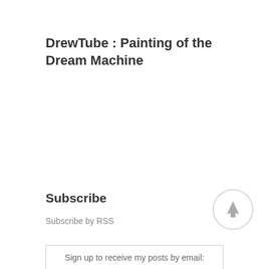DrewTube : Painting of the Dream Machine
Subscribe
Subscribe by RSS
Sign up to receive my posts by email: